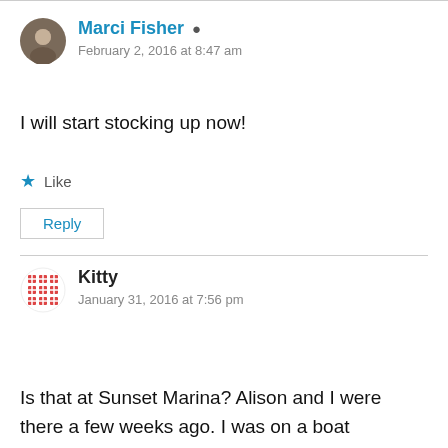Marci Fisher (author icon) February 2, 2016 at 8:47 am
I will start stocking up now!
Like
Reply
Kitty January 31, 2016 at 7:56 pm
Is that at Sunset Marina? Alison and I were there a few weeks ago. I was on a boat research